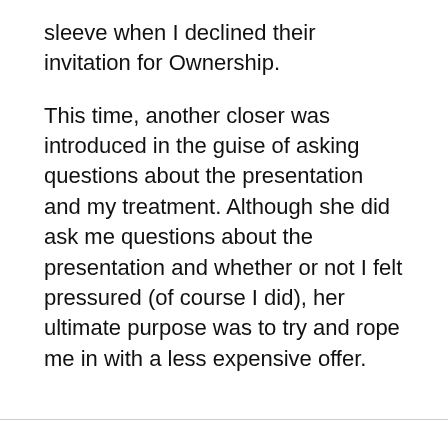sleeve when I declined their invitation for Ownership.
This time, another closer was introduced in the guise of asking questions about the presentation and my treatment. Although she did ask me questions about the presentation and whether or not I felt pressured (of course I did), her ultimate purpose was to try and rope me in with a less expensive offer.